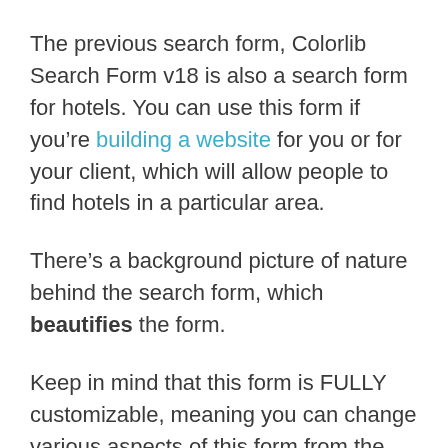The previous search form, Colorlib Search Form v18 is also a search form for hotels. You can use this form if you're building a website for you or for your client, which will allow people to find hotels in a particular area.
There's a background picture of nature behind the search form, which beautifies the form.
Keep in mind that this form is FULLY customizable, meaning you can change various aspects of this form from the code. So change the design to meet the design specifications of your website or your client's website.
Overall, this form looks very cool...